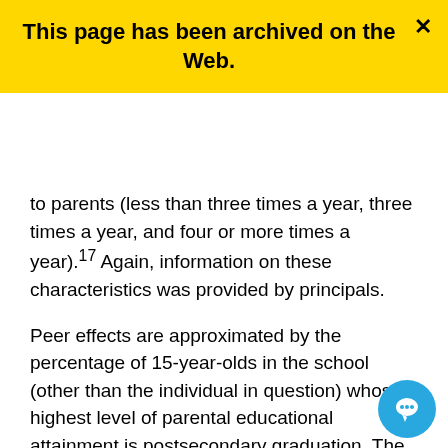[Figure (other): Yellow archive banner with bold text 'This page has been archived on the Web.' and a close (×) button in the top-right corner.]
to parents (less than three times a year, three times a year, and four or more times a year).17 Again, information on these characteristics was provided by principals.
Peer effects are approximated by the percentage of 15-year-olds in the school (other than the individual in question) whose highest level of parental educational attainment is postsecondary graduation. The effect of peers is a form of school-level influence, in that reflects the school's ability to attract students